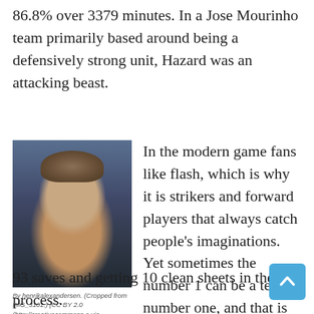86.8% over 3379 minutes. In a Jose Mourinho team primarily based around being a defensively strong unit, Hazard was an attacking beast.
[Figure (photo): Portrait photo of a young male football player with short spiky hair, wearing a dark jersey.]
By henrikalexandersen. (Cropped from IMG_3101.) [CC BY 2.0 (http://creativecommons.org via Wikimedia Commons
In the modern game fans like flash, which is why it is strikers and forward players that always catch people's imaginations. Yet sometimes the number 1 can be a team's number one, and that is definitely the case at Old Trafford. David De Gea played 37 league games for Manchester United, making 93 saves and getting 10 clean sheets in the process.